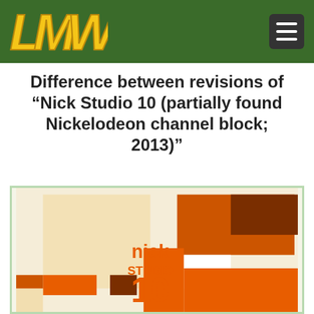LMW logo and navigation menu
Difference between revisions of “Nick Studio 10 (partially found Nickelodeon channel block; 2013)”
[Figure (illustration): Nick Studio 10 logo artwork with orange and brown geometric rectangular blocks on a cream/white background. The text reads 'nick STUDIO 10' in orange lettering.]